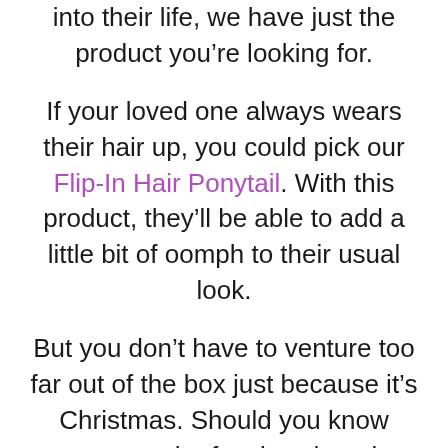into their life, we have just the product you're looking for.
If your loved one always wears their hair up, you could pick our Flip-In Hair Ponytail. With this product, they'll be able to add a little bit of oomph to their usual look.
But you don't have to venture too far out of the box just because it's Christmas. Should you know someone who fancies changing things up a little bit... but not too